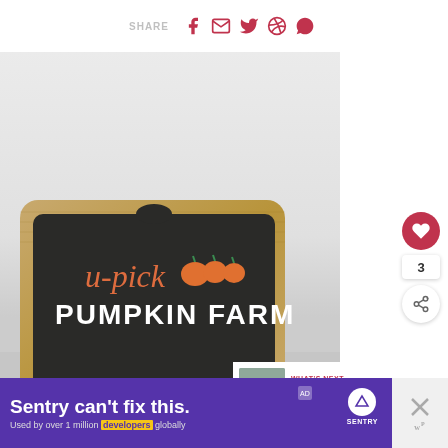SHARE (social media icons: Facebook, Email, Twitter, Pinterest, WhatsApp)
[Figure (photo): A chalkboard sign with burlap frame reading 'u-pick PUMPKIN FARM' with orange pumpkin illustrations, on a light gray background with white pumpkins visible at the edges]
[Figure (photo): Thumbnail image of chalkboard menu next to 'WHAT'S NEXT' label with text 'Chalkboard Menu with...']
[Figure (other): Advertisement banner: 'Sentry can't fix this. Used by over 1 million developers globally' with Sentry logo and purple background]